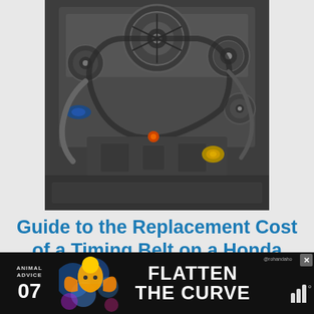[Figure (photo): Close-up photo of a Honda engine showing timing belt area with pulleys, tensioners and engine components]
Guide to the Replacement Cost of a Timing Belt on a Honda Odyssey
What is the timing belt? The timing belt is a critical component of your engine, and it's important to know how much it will cost to …
Read More
[Figure (photo): Photo of a car engine compartment showing a Vortec engine with red vehicle body visible]
[Figure (infographic): Advertisement banner: Animal Advice 07, Flatten The Curve, with @rohandaho handle and close button]